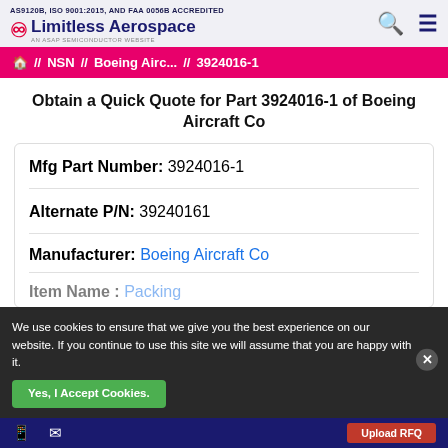AS9120B, ISO 9001:2015, AND FAA 0056B ACCREDITED — Limitless Aerospace (AN ASAP SEMICONDUCTOR WEBSITE)
// NSN // Boeing Airc... // 3924016-1
Obtain a Quick Quote for Part 3924016-1 of Boeing Aircraft Co
Mfg Part Number: 3924016-1
Alternate P/N: 39240161
Manufacturer: Boeing Aircraft Co
Item Name: Packing
We use cookies to ensure that we give you the best experience on our website. If you continue to use this site we will assume that you are happy with it.
Yes, I Accept Cookies.
Upload RFQ